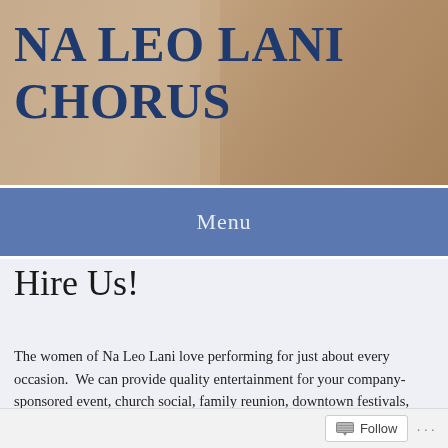[Figure (photo): Header banner for Na Leo Lani Chorus website showing the chorus name in large dark blue text over a warm beige/tan background with a group of smiling women visible on the right side.]
Menu
Hire Us!
The women of Na Leo Lani love performing for just about every occasion.  We can provide quality entertainment for your company-sponsored event, church social, family reunion, downtown festivals, sporting event (National and Hawaiian anthems), public or private
Follow ...